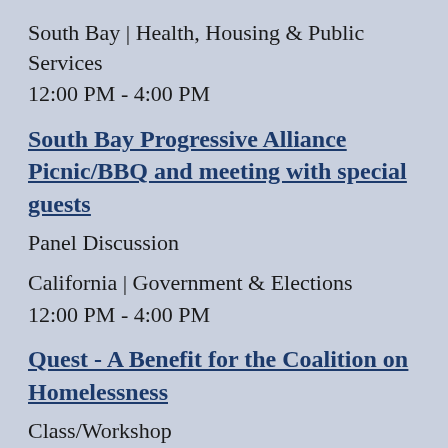South Bay | Health, Housing & Public Services
12:00 PM - 4:00 PM
South Bay Progressive Alliance Picnic/BBQ and meeting with special guests
Panel Discussion
California | Government & Elections
12:00 PM - 4:00 PM
Quest - A Benefit for the Coalition on Homelessness
Class/Workshop